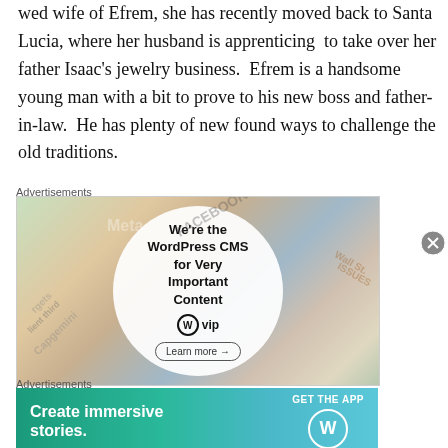wed wife of Efrem, she has recently moved back to Santa Lucia, where her husband is apprenticing to take over her father Isaac's jewelry business. Efrem is a handsome young man with a bit to prove to his new boss and father-in-law. He has plenty of new found ways to challenge the old traditions.
Advertisements
[Figure (other): WordPress VIP advertisement showing colorful cards with tech company logos and a white circle with text: We're the WordPress CMS for Very Important Content. WPvip logo and Learn more button.]
Advertisements
[Figure (other): WordPress app advertisement with teal/green gradient background. Text: Create immersive stories. GET THE APP with WordPress logo.]